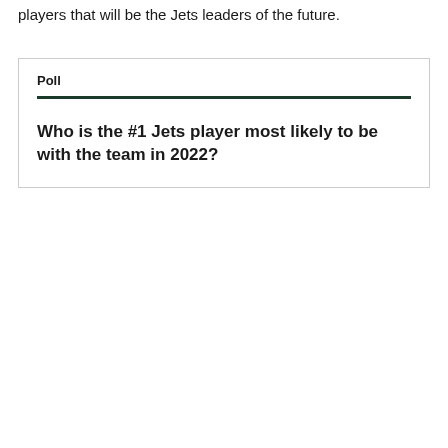players that will be the Jets leaders of the future.
Poll
Who is the #1 Jets player most likely to be with the team in 2022?